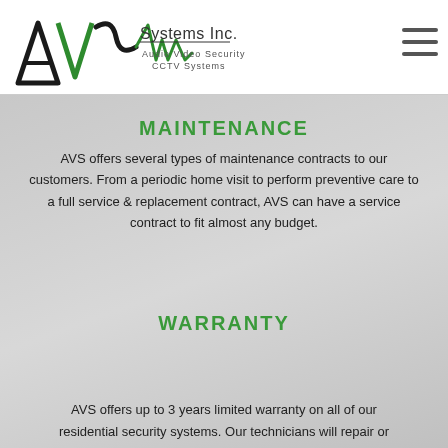[Figure (logo): AVS Systems Inc. logo — Audio Video Security CCTV Systems, black and green stylized letters A, V, S with waveform graphic]
AVS Systems Inc. | Audio Video Security CCTV Systems
MAINTENANCE
AVS offers several types of maintenance contracts to our customers. From a periodic home visit to perform preventive care to a full service & replacement contract, AVS can have a service contract to fit almost any budget.
WARRANTY
AVS offers up to 3 years limited warranty on all of our residential security systems. Our technicians will repair or